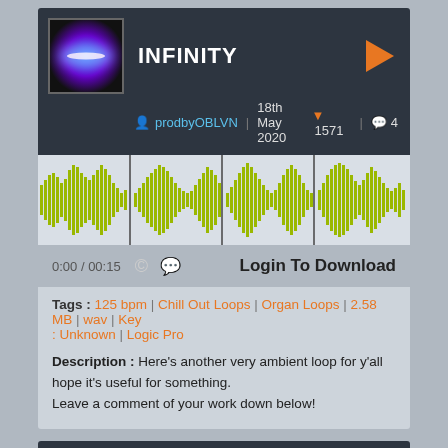[Figure (screenshot): Audio track card for INFINITY with thumbnail, waveform, and controls]
INFINITY
prodbyOBLVN | 18th May 2020 ▼ 1571 💬 4
[Figure (other): Waveform visualization in yellow-green on gray background with vertical markers]
0:00 / 00:15
Login To Download
Tags : 125 bpm | Chill Out Loops | Organ Loops | 2.58 MB | wav | Key : Unknown | Logic Pro
Description : Here's another very ambient loop for y'all hope it's useful for something.
Leave a comment of your work down below!
[Figure (screenshot): Audio track card for MrF Mississippi Classic Funk Organ]
MrF Mississippi Classic Funk Organ
JoeFunktastic | 27th Dec 2012 ▼ 1428 💬 4